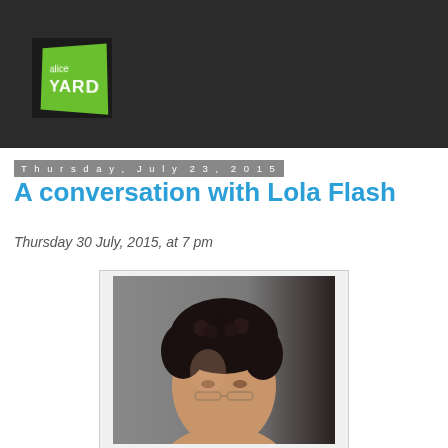[Figure (logo): Alice Yard logo — green parallelogram-style square with white text 'alice YARD' on dark background banner]
Thursday, July 23, 2015
A conversation with Lola Flash
Thursday 30 July, 2015, at 7 pm
[Figure (photo): Portrait photograph of a person with dark curly hair, shown from shoulders up, against a grey/dark background]